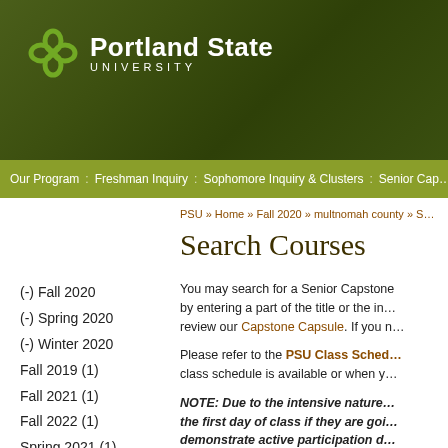[Figure (logo): Portland State University logo with green background, clover leaf icon and university name in white text]
Our Program | Freshman Inquiry | Sophomore Inquiry & Clusters | Senior Cap…
PSU » Home » Fall 2020 » multnomah county » S…
Search Courses
(-) Fall 2020
(-) Spring 2020
(-) Winter 2020
Fall 2019 (1)
Fall 2021 (1)
Fall 2022 (1)
Spring 2021 (1)
Spring 2022 (1)
Winter 2021 (1)
Winter 2022 (1)
You may search for a Senior Capstone by entering a part of the title or the ins… review our Capstone Capsule. If you …
Please refer to the PSU Class Sched… class schedule is available or when y…
NOTE:  Due to the intensive nature… the first day of class if they are goi… demonstrate active participation d… and participation into the final gra…
NOTE:  "Sustainability" tagged cou… seek approval from Joseph Maser,